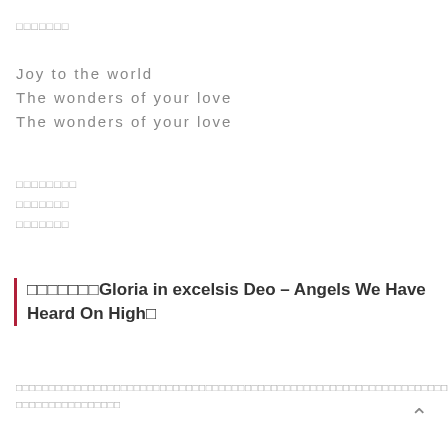□□□□□□□
Joy to the world
The wonders of your love
The wonders of your love
□□□□□□□□
□□□□□□□
□□□□□□□
□□□□□□□Gloria in excelsis Deo – Angels We Have Heard On High□
□□□□□□□□□□□□□□□□□□□□□□□□□□□□□□□□□□□□□□□□□□□□□□□□□□□□□□□□□□□□□□□□□□□□□□□□□□□□□□□□□□□□□□□□□□□□□□□□□□□□□□□□□□□□□□□□□□□□□□□□□□□□□□□□□□□□□□□□□□□□□□□□□□□□□□□□□□□□□□□□□□□□□□□□□□□□□□□□□□□□□□□□□□□□□□□□□□□□□□□□□□□□□□□□□□□□□□□□□□□□□□□□□□□□□□□□□□□□□□□□□□□□□□□□□□□□□□□□□□□□□□□□□□□□□□